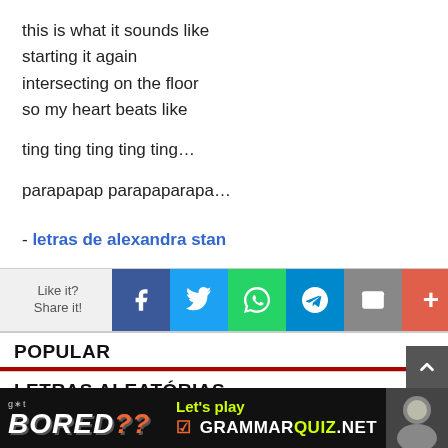this is what it sounds like
starting it again
intersecting on the floor
so my heart beats like

ting ting ting ting ting…

parapapap parapaparapa…
- letras de alexandra stan
[Figure (infographic): Social share bar with Like it? Share it! label and buttons for Facebook, Twitter, WhatsApp, Telegram, Email, and More (+)]
POPULAR
LETRAS ALEATÓRIAS
[Figure (infographic): Advertisement banner: got BORED?? Let's play GRAMMARQUIZ.NET with a person's photo on the right]